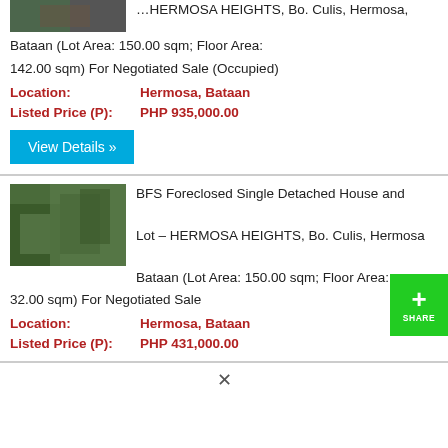BFS Foreclosed Single Detached House and Lot – HERMOSA HEIGHTS, Bo. Culis, Hermosa, Bataan (Lot Area: 150.00 sqm; Floor Area: 142.00 sqm) For Negotiated Sale (Occupied)
Location: Hermosa, Bataan
Listed Price (P): PHP 935,000.00
View Details »
[Figure (photo): Photo of foreclosed property – vegetation/house exterior, first listing]
BFS Foreclosed Single Detached House and Lot – HERMOSA HEIGHTS, Bo. Culis, Hermosa, Bataan (Lot Area: 150.00 sqm; Floor Area: 32.00 sqm) For Negotiated Sale
Location: Hermosa, Bataan
Listed Price (P): PHP 431,000.00
[Figure (photo): Photo of foreclosed property – overgrown vegetation, second listing]